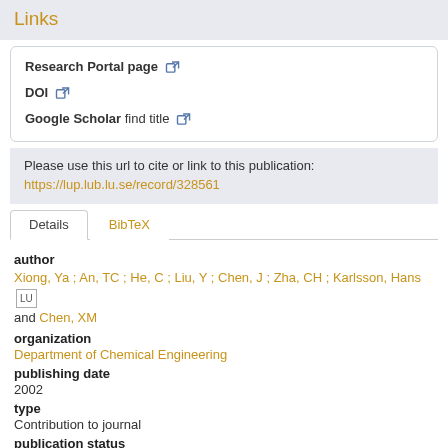Links
Research Portal page [external link icon]
DOI [external link icon]
Google Scholar find title [external link icon]
Please use this url to cite or link to this publication:
https://lup.lub.lu.se/record/328561
Details   BibTeX
author
Xiong, Ya ; An, TC ; He, C ; Liu, Y ; Chen, J ; Zha, CH ; Karlsson, Hans  LU and Chen, XM
organization
Department of Chemical Engineering
publishing date
2002
type
Contribution to journal
publication status
published